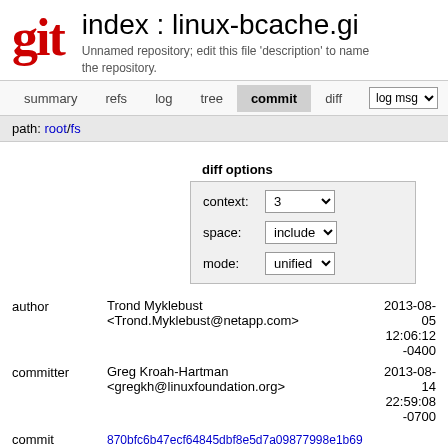index : linux-bcache.git
Unnamed repository; edit this file 'description' to name the repository.
summary  refs  log  tree  commit  diff  log msg
path: root/fs
diff options
| label | control |
| --- | --- |
| context: | 3 |
| space: | include |
| mode: | unified |
author
Trond Myklebust <Trond.Myklebust@netapp.com>
2013-08-05 12:06:12 -0400
committer
Greg Kroah-Hartman <gregkh@linuxfoundation.org>
2013-08-14 22:59:08 -0700
commit 870bfc6b47ecf64845dbf8e5d7a09877998e1b69